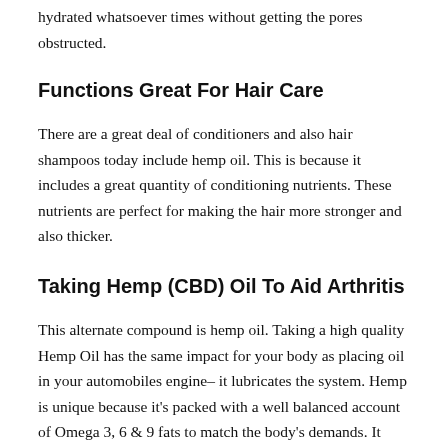hydrated whatsoever times without getting the pores obstructed.
Functions Great For Hair Care
There are a great deal of conditioners and also hair shampoos today include hemp oil. This is because it includes a great quantity of conditioning nutrients. These nutrients are perfect for making the hair more stronger and also thicker.
Taking Hemp (CBD) Oil To Aid Arthritis
This alternate compound is hemp oil. Taking a high quality Hemp Oil has the same impact for your body as placing oil in your automobiles engine– it lubricates the system. Hemp is unique because it's packed with a well balanced account of Omega 3, 6 & 9 fats to match the body's demands. It likewise consists of GLA (Gamma-